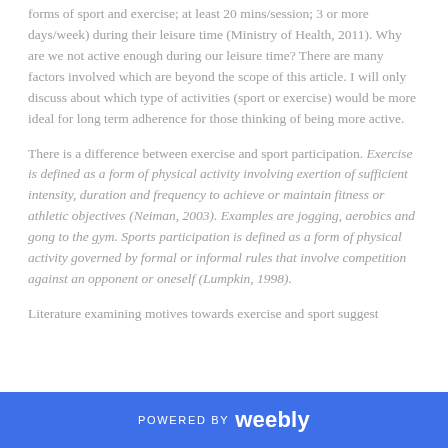forms of sport and exercise; at least 20 mins/session; 3 or more days/week) during their leisure time (Ministry of Health, 2011). Why are we not active enough during our leisure time? There are many factors involved which are beyond the scope of this article. I will only discuss about which type of activities (sport or exercise) would be more ideal for long term adherence for those thinking of being more active.
There is a difference between exercise and sport participation. Exercise is defined as a form of physical activity involving exertion of sufficient intensity, duration and frequency to achieve or maintain fitness or athletic objectives (Neiman, 2003). Examples are jogging, aerobics and gong to the gym. Sports participation is defined as a form of physical activity governed by formal or informal rules that involve competition against an opponent or oneself (Lumpkin, 1998).
Literature examining motives towards exercise and sport suggest
POWERED BY weebly